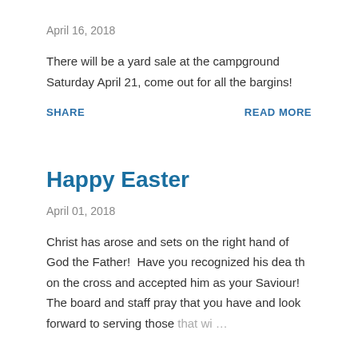April 16, 2018
There will be a yard sale at the campground Saturday April 21, come out for all the bargins!
SHARE    READ MORE
Happy Easter
April 01, 2018
Christ has arose and sets on the right hand of God the Father!  Have you recognized his dea th on the cross and accepted him as your Saviour!  The board and staff pray that you have and look forward to serving those that wi …